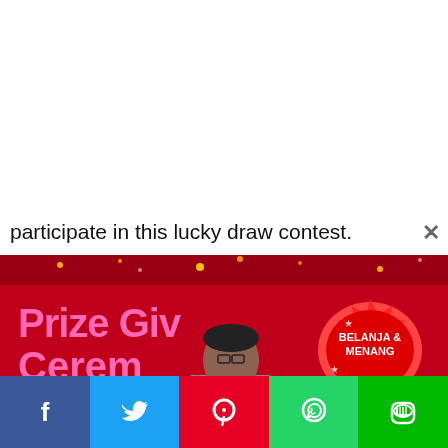participate in this lucky draw contest.
[Figure (photo): A man speaking at a podium at a Prize Giving Ceremony event at LuLu 1 Shamelin on 28 September. Red promotional banner behind him reads 'Prize Giving Ceremony', '28 September', 'Venue: LuLu 1 Shamelin', with 'Belanja & Menang' badge and a Proton X70 car displayed. The podium has a LuLu logo.]
And this time... The Dream, Drive, Shop & Win
[Figure (infographic): Social media sharing buttons: Facebook (blue), Twitter (blue), Pinterest (red), WhatsApp (green), LINE (green)]